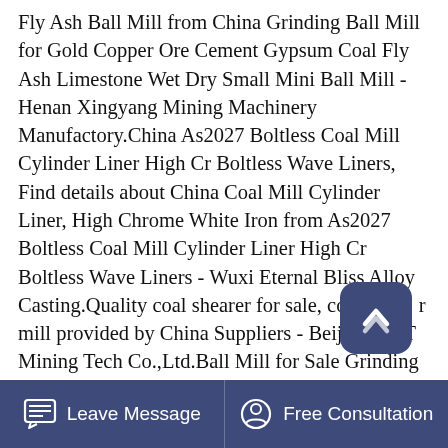Fly Ash Ball Mill from China Grinding Ball Mill for Gold Copper Ore Cement Gypsum Coal Fly Ash Limestone Wet Dry Small Mini Ball Mill - Henan Xingyang Mining Machinery Manufactory.China As2027 Boltless Coal Mill Cylinder Liner High Cr Boltless Wave Liners, Find details about China Coal Mill Cylinder Liner, High Chrome White Iron from As2027 Boltless Coal Mill Cylinder Liner High Cr Boltless Wave Liners - Wuxi Eternal Bliss Alloy Casting.Quality coal shearer for sale, coal shearer mill provided by China Suppliers - Beijing HOT Mining Tech Co.,Ltd.Ball Mill for Sale Grinding Machine - JXSC Mining. 2021-11-20 Ball mill is a key equipment for grinding materials. thus grinding ball mills are widely used in the mining beneficiation process, and it has a wide range of suitable grinding mineral and can works on wet and dry grinding
Leave Message   Free Consultation